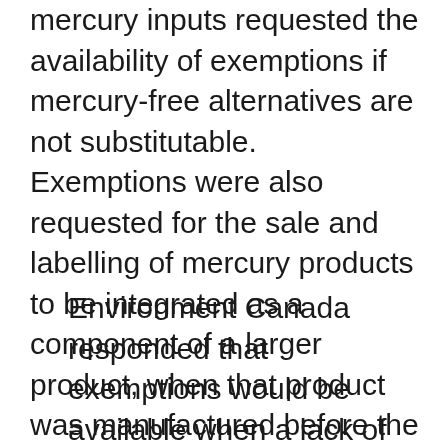mercury inputs requested the availability of exemptions if mercury-free alternatives are not substitutable. Exemptions were also requested for the sale and labelling of mercury products to be integrated as a component of a larger product, when that product was manufactured before the coming-into-force of the Regulations.
Environment Canada responded that exemptions would be available when a lack of viable alternatives exists and the need for continued use of these products in Canada can be demonstrated. The